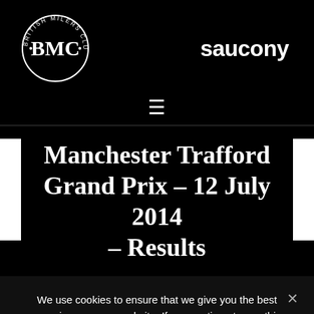[Figure (logo): British Milers Club circular logo with BMC monogram and text around the circle]
[Figure (logo): Saucony brand name in bold white text]
[Figure (other): Hamburger menu icon (three horizontal lines)]
Manchester Trafford Grand Prix – 12 July 2014 – Results
We use cookies to ensure that we give you the best experience on our website. If you continue to use this site we will assume that you are happy with it.
OK